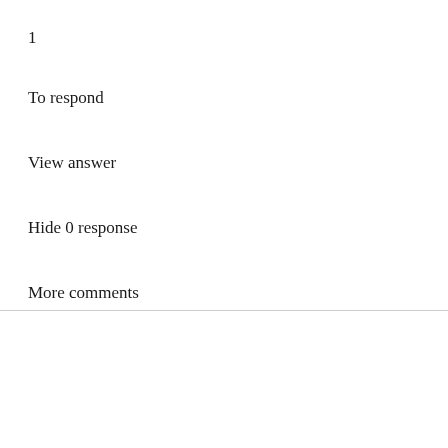1
To respond
View answer
Hide 0 response
More comments
IgG, Time Princess Conducting Affiliate Event